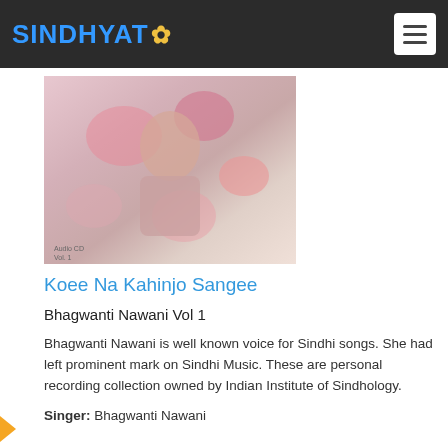SINDHYAT
[Figure (photo): Album cover for Koee Na Kahinjo Sangee - Bhagwanti Nawani Vol 1, showing a woman in floral attire with 'Audio CD Vol. 1' text]
Koee Na Kahinjo Sangee
Bhagwanti Nawani Vol 1
Bhagwanti Nawani is well known voice for Sindhi songs. She had left prominent mark on Sindhi Music. These are personal recording collection owned by Indian Institute of Sindhology.
Singer: Bhagwanti Nawani
[Figure (photo): Second album cover showing a woman with text 'Indian Institute of Sindhology Presents' at top]